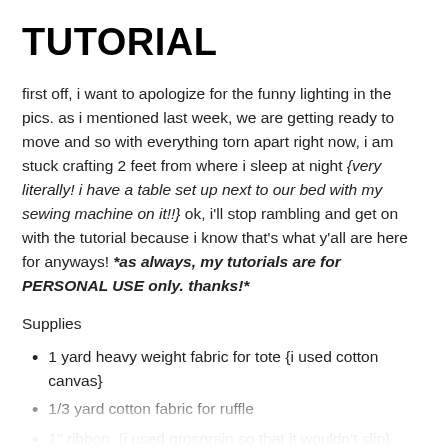TUTORIAL
first off, i want to apologize for the funny lighting in the pics. as i mentioned last week, we are getting ready to move and so with everything torn apart right now, i am stuck crafting 2 feet from where i sleep at night {very literally! i have a table set up next to our bed with my sewing machine on it!!} ok, i'll stop rambling and get on with the tutorial because i know that's what y'all are here for anyways! *as always, my tutorials are for PERSONAL USE only. thanks!*
Supplies
1 yard heavy weight fabric for tote {i used cotton canvas}
1/3 yard cotton fabric for ruffle
1" ribbon. {i used grosgrain so that it wouldn't slip}
scissors
fray check/lighter